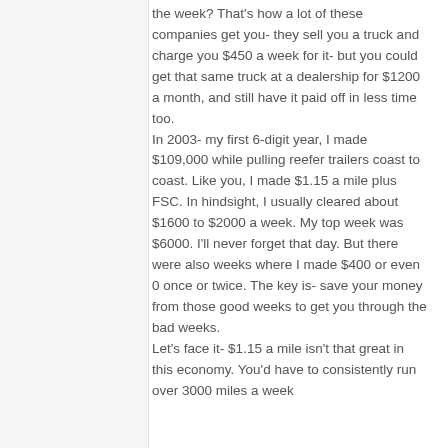the week? That's how a lot of these companies get you- they sell you a truck and charge you $450 a week for it- but you could get that same truck at a dealership for $1200 a month, and still have it paid off in less time too. In 2003- my first 6-digit year, I made $109,000 while pulling reefer trailers coast to coast. Like you, I made $1.15 a mile plus FSC. In hindsight, I usually cleared about $1600 to $2000 a week. My top week was $6000. I'll never forget that day. But there were also weeks where I made $400 or even 0 once or twice. The key is- save your money from those good weeks to get you through the bad weeks. Let's face it- $1.15 a mile isn't that great in this economy. You'd have to consistently run over 3000 miles a week